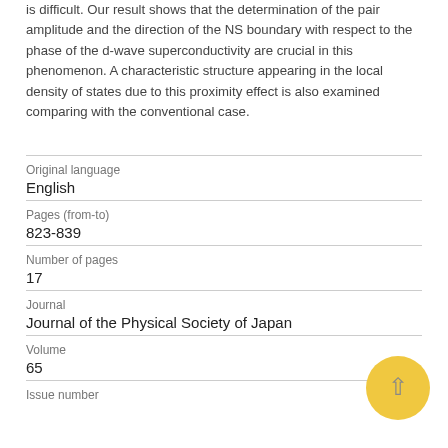is difficult. Our result shows that the determination of the pair amplitude and the direction of the NS boundary with respect to the phase of the d-wave superconductivity are crucial in this phenomenon. A characteristic structure appearing in the local density of states due to this proximity effect is also examined comparing with the conventional case.
| Field | Value |
| --- | --- |
| Original language | English |
| Pages (from-to) | 823-839 |
| Number of pages | 17 |
| Journal | Journal of the Physical Society of Japan |
| Volume | 65 |
| Issue number |  |